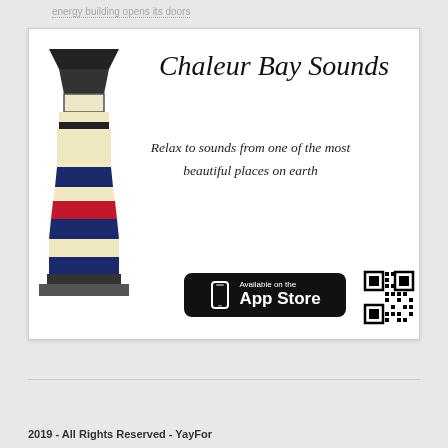energy building opens its doors
[Figure (illustration): Chaleur Bay Sounds app advertisement with lighthouse illustration, title, tagline, App Store button, and QR code]
2019 - All Rights Reserved - YayFor